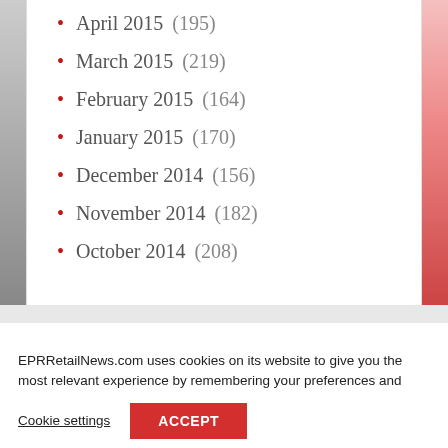April 2015 (195)
March 2015 (219)
February 2015 (164)
January 2015 (170)
December 2014 (156)
November 2014 (182)
October 2014 (208)
EPRRetailNews.com uses cookies on its website to give you the most relevant experience by remembering your preferences and repeat visits. By clicking “Accept”, you consent to the use of ALL the cookies.
Cookie settings   ACCEPT